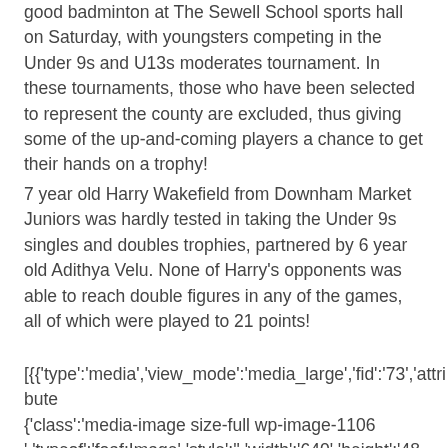good badminton at The Sewell School sports hall on Saturday, with youngsters competing in the Under 9s and U13s moderates tournament. In these tournaments, those who have been selected to represent the county are excluded, thus giving some of the up-and-coming players a chance to get their hands on a trophy!
7 year old Harry Wakefield from Downham Market Juniors was hardly tested in taking the Under 9s singles and doubles trophies, partnered by 6 year old Adithya Velu. None of Harry's opponents was able to reach double figures in any of the games, all of which were played to 21 points!
[{{'type':'media','view_mode':'media_large','fid':'73','attribute {'class':'media-image size-full wp-image-1106 ','typeof':'foaf:Image','style':'','width':'640','height':'480','alt': yr old Harry Wakefield and 6 yr old Adithya Velu, who